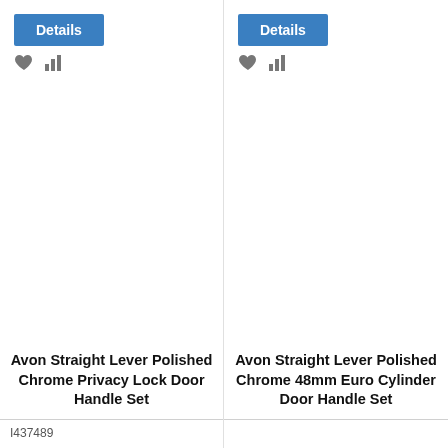[Figure (screenshot): Details button with heart and bar chart icons for product 1]
Avon Straight Lever Polished Chrome Privacy Lock Door Handle Set
I437489
[Figure (screenshot): Details button with heart and bar chart icons for product 2]
Avon Straight Lever Polished Chrome 48mm Euro Cylinder Door Handle Set